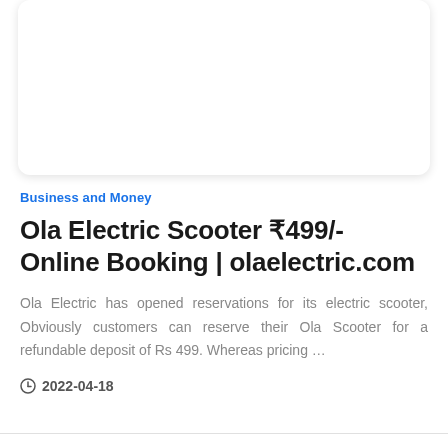[Figure (other): White card area with rounded corners and drop shadow, representing an image or content card placeholder]
Business and Money
Ola Electric Scooter ₹499/- Online Booking | olaelectric.com
Ola Electric has opened reservations for its electric scooter, Obviously customers can reserve their Ola Scooter for a refundable deposit of Rs 499. Whereas pricing …
2022-04-18